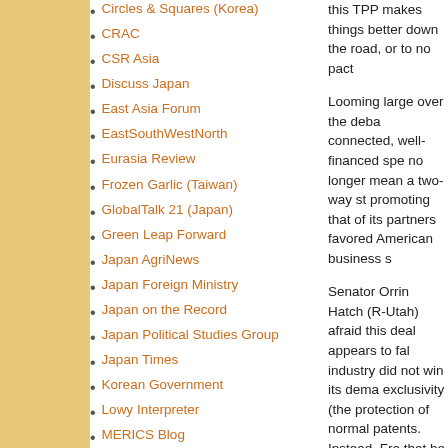Circles & Squares (Korea)
CRAC
CSR Asia
Discuss Japan
East Asia Forum
EastSouthWestNorth
Eurasia Review
Frozen Garlic (Taiwan)
GlobalTalk 21 (Japan)
Green Leap Forward
Japan AgriNews
Japan Foreign Ministry
Japan on the Record
Japan Political Studies Group
Japan Times
Korean Government
Lowy Interpreter
MERICS Blog
Mongolia Today
Neojaponisme
NGO in China
this TPP makes things better down the road, or to no pact Looming large over the deba connected, well-financed spe no longer mean a two-way st promoting that of its partners favored American business s Senator Orrin Hatch (R-Utah) afraid this deal appears to fal industry did not win its dema exclusivity (the protection of normal patents. Instead, Fro that he might be willing to le the pro-TPP crowd was what Representative Paul Ryan (R the TPP in the House: "I am trader, did not want to get to hails from the dairy state of W Congress in which they note access to the U.S. market, bu States. Then there's tobacco trade dispute-resolution mech